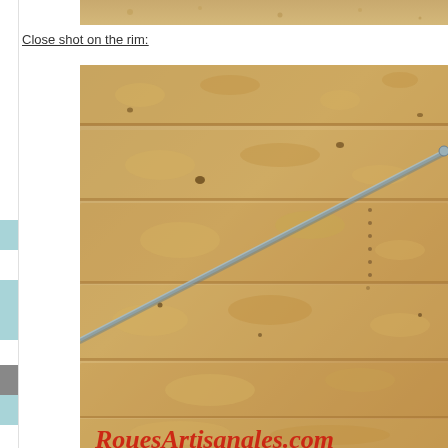[Figure (photo): Top strip showing a sandy/tan ceramic or clay rim texture, cropped at the very top of the page.]
Close shot on the rim:
[Figure (photo): Close-up photograph of a rough sandy/tan textured clay or adobe surface (the rim of a ceramic piece) with a metal spoke or rod running diagonally from lower-left to upper-right. At the bottom of the image, partially visible red decorative text reading 'RouesArtisanales.com'.]